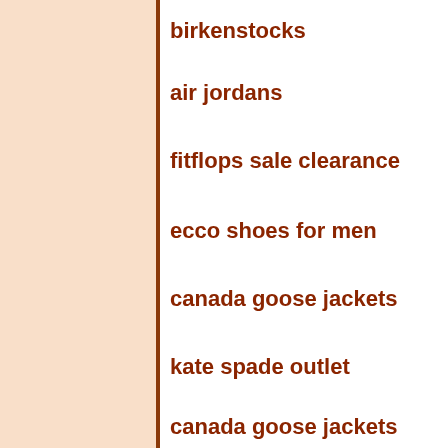birkenstocks
air jordans
fitflops sale clearance
ecco shoes for men
canada goose jackets
kate spade outlet
canada goose jackets